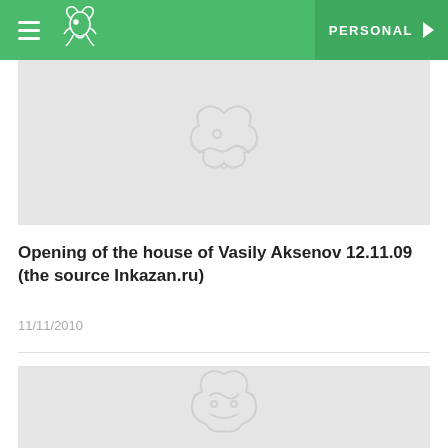PERSONAL
[Figure (photo): Light gray placeholder image with a faint dragon/griffin logo watermark in the center]
Opening of the house of Vasily Aksenov 12.11.09 (the source Inkazan.ru)
11/11/2010
[Figure (photo): Light gray placeholder image with a faint dragon/griffin logo watermark in the center]